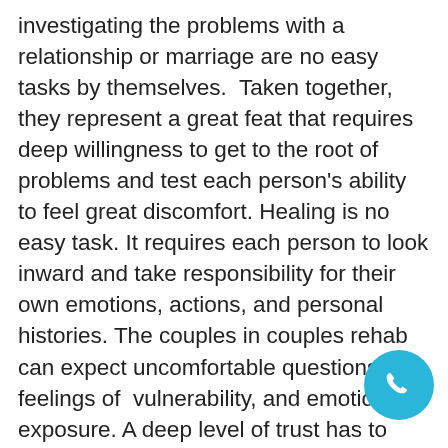investigating the problems with a relationship or marriage are no easy tasks by themselves.  Taken together, they represent a great feat that requires deep willingness to get to the root of problems and test each person's ability to feel great discomfort. Healing is no easy task. It requires each person to look inward and take responsibility for their own emotions, actions, and personal histories. The couples in couples rehab can expect uncomfortable questions, feelings of  vulnerability, and emotional exposure. A deep level of trust has to exist in the relationship for therapy to even have a chance to work. If the relationship is without that trust in both individuals, then therapy will be useless.  Without trust, no true emotional opening can occur. However, the rewards are also great. The addicted individuals can expect to feel great emotional relief after a successful session or series of sessions. If both people commit to giving the
[Figure (other): A circular call/phone button widget in cyan/teal color with a white phone handset icon, positioned in the bottom-right corner of the page.]